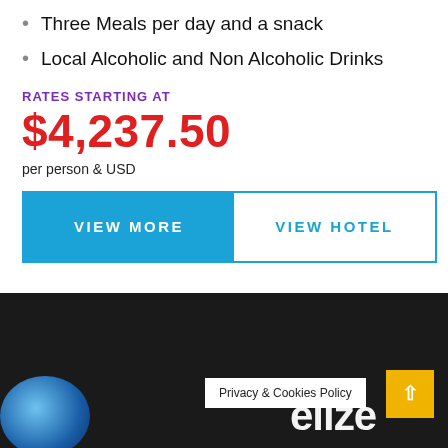Three Meals per day and a snack
Local Alcoholic and Non Alcoholic Drinks
RATES STARTING AT
$4,237.50
per person & USD
VIEW MORE
VIEW HOTEL
Privacy & Cookies Policy